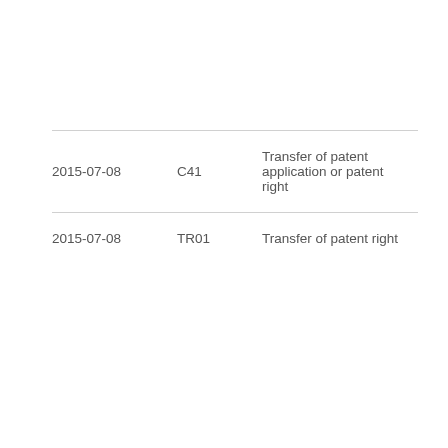| 2015-07-08 | C41 | Transfer of patent application or patent right |
| 2015-07-08 | TR01 | Transfer of patent right |